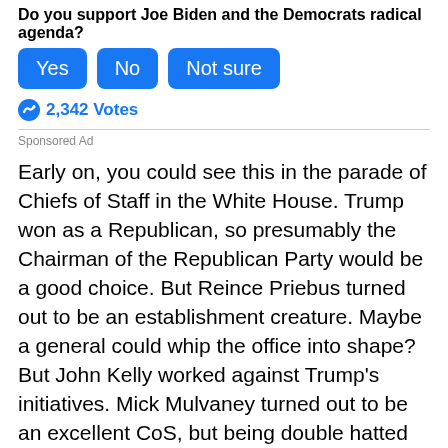Do you support Joe Biden and the Democrats radical agenda?
[Figure (other): Poll buttons: Yes, No, Not sure (blue rounded rectangle buttons)]
2,342 Votes
Sponsored Ad
Early on, you could see this in the parade of Chiefs of Staff in the White House. Trump won as a Republican, so presumably the Chairman of the Republican Party would be a good choice. But Reince Priebus turned out to be an establishment creature. Maybe a general could whip the office into shape? But John Kelly worked against Trump’s initiatives. Mick Mulvaney turned out to be an excellent CoS, but being double hatted made for too much work, and Mark Meadows took over. The last two actually supported Trump, rather than being